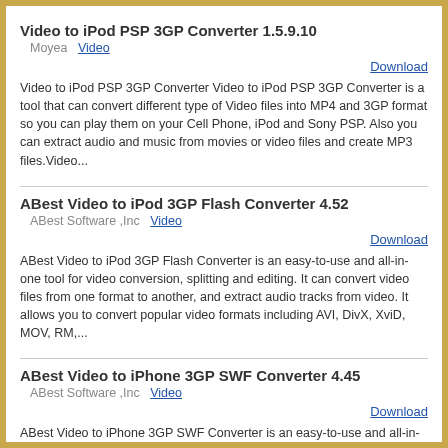Video to iPod PSP 3GP Converter 1.5.9.10
Moyea  Video
Download
Video to iPod PSP 3GP Converter Video to iPod PSP 3GP Converter is a tool that can convert different type of Video files into MP4 and 3GP format so you can play them on your Cell Phone, iPod and Sony PSP. Also you can extract audio and music from movies or video files and create MP3 files.Video...
ABest Video to iPod 3GP Flash Converter 4.52
ABest Software ,Inc  Video
Download
ABest Video to iPod 3GP Flash Converter is an easy-to-use and all-in-one tool for video conversion, splitting and editing. It can convert video files from one format to another, and extract audio tracks from video. It allows you to convert popular video formats including AVI, DivX, XviD, MOV, RM,...
ABest Video to iPhone 3GP SWF Converter 4.45
ABest Software ,Inc  Video
Download
ABest Video to iPhone 3GP SWF Converter is an easy-to-use and all-in-one tool for video conversion, splitting and editing. It can convert video files from one format to another, and extract audio tracks from video. It allows you to convert popular video formats including AVI, DivX, XviD, MOV, RM,...
ABest Video to RM RMVB WMV Converter 4.58
ABest Software ,Inc  Video